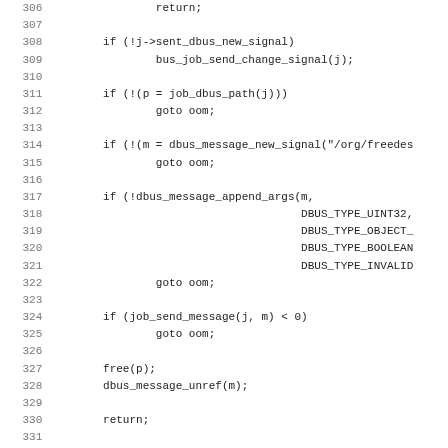[Figure (screenshot): Source code listing in monospace font showing C code lines 306-338 with line numbers on the left. Code involves dbus signal handling including sending signals, goto oom error handling, free and dbus_message_unref calls.]